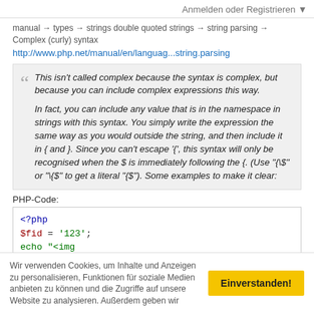Anmelden oder Registrieren ▼
manual → types → strings double quoted strings → string parsing → Complex (curly) syntax
http://www.php.net/manual/en/languag...string.parsing
This isn't called complex because the syntax is complex, but because you can include complex expressions this way.

In fact, you can include any value that is in the namespace in strings with this syntax. You simply write the expression the same way as you would outside the string, and then include it in { and }. Since you can't escape '{', this syntax will only be recognised when the $ is immediately following the {. (Use "{\$" or "\{$" to get a literal "{$"). Some examples to make it clear:
PHP-Code:
<?php
$fid = '123';
echo "<img src=\"images/balken/balken{$fid}_l.gif\" heig
?>
Wir verwenden Cookies, um Inhalte und Anzeigen zu personalisieren, Funktionen für soziale Medien anbieten zu können und die Zugriffe auf unsere Website zu analysieren. Außerdem geben wir